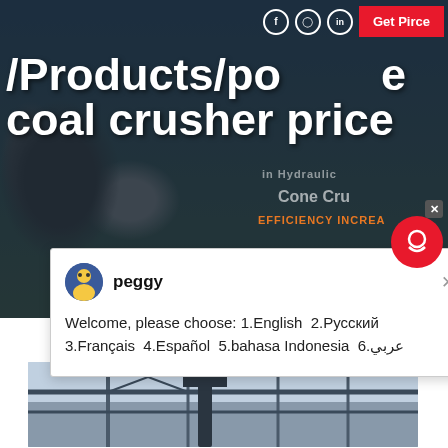[Figure (screenshot): Hero banner showing industrial machinery/crusher equipment with dark blue-green background, social media icons, Get Price button]
/Products/po  e coal crusher price
peggy
Welcome, please choose: 1.English  2.Русский  3.Français  4.Español  5.bahasa Indonesia  6.عربي
[Figure (photo): Industrial machinery photo showing crane or crusher equipment in a factory/warehouse setting]